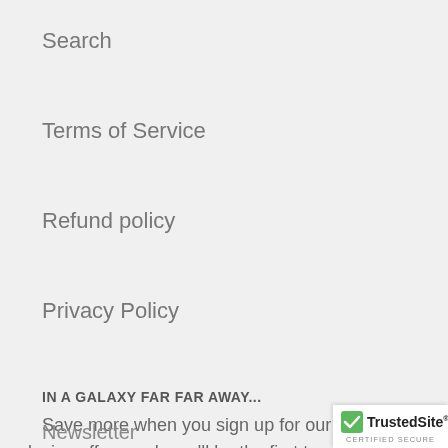Search
Terms of Service
Refund policy
Privacy Policy
IN A GALAXY FAR FAR AWAY...
Save more when you sign up for our email list! Get exclusive offers and, you'll be the first to know when the sale begins!
Newsletter
[Figure (logo): TrustedSite certified secure badge with green checkmark]